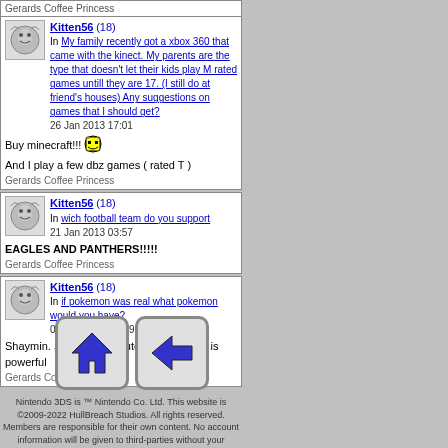Gerards Coffee Princess
Kitten56 (18) In My family recently got a xbox 360 that came with the kinect. My parents are the type that doesn't let their kids play M rated games untill they are 17. (I still do at friend's houses) Any suggestions on games that I should get? 26 Jan 2013 17:01 Buy minecraft!!! And I play a few dbz games ( rated T ) Gerards Coffee Princess
Kitten56 (18) In wich football team do you support 21 Jan 2013 03:57 EAGLES AND PANTHERS!!!!! Gerards Coffee Princess
Kitten56 (18) In if pokemon was real what pokemon would you have? 04 Dec 2012 21:59 Shaymin. She/He is so cute. Plus She/He is powerful Gerards Coffee Princess
[Figure (illustration): Navigation buttons: home icon and back arrow icon]
Nintendo 3DS is ™ Nintendo Co. Ltd. This website is ©2009-2022 HullBreach Studios. All rights reserved. Members are responsible for their own content. No account information will be given to third-parties without your consent.